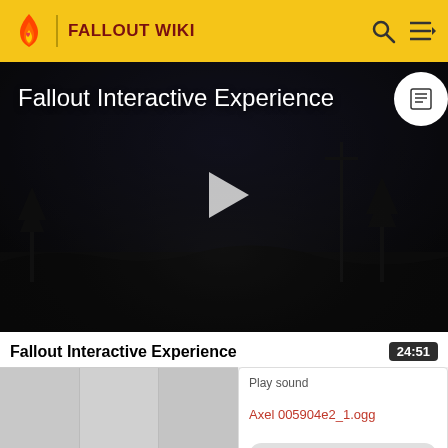FALLOUT WIKI
[Figure (screenshot): Video thumbnail showing a dark post-apocalyptic scene with title 'Fallout Interactive Experience' and a play button in the center. A transcript button is in the top-right corner.]
Fallout Interactive Experience
24:51
Play sound
Axel 005904e2_1.ogg
▶ 0:00